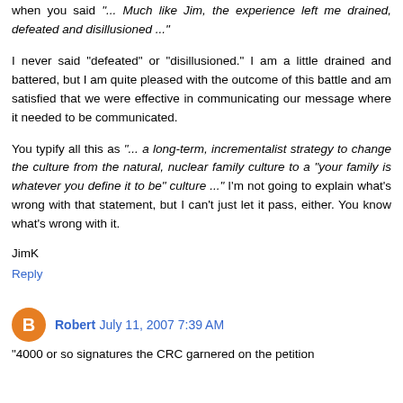when you said "... Much like Jim, the experience left me drained, defeated and disillusioned ..."
I never said "defeated" or "disillusioned." I am a little drained and battered, but I am quite pleased with the outcome of this battle and am satisfied that we were effective in communicating our message where it needed to be communicated.
You typify all this as "... a long-term, incrementalist strategy to change the culture from the natural, nuclear family culture to a "your family is whatever you define it to be" culture ..." I'm not going to explain what's wrong with that statement, but I can't just let it pass, either. You know what's wrong with it.
JimK
Reply
Robert  July 11, 2007 7:39 AM
"4000 or so signatures the CRC garnered on the petition